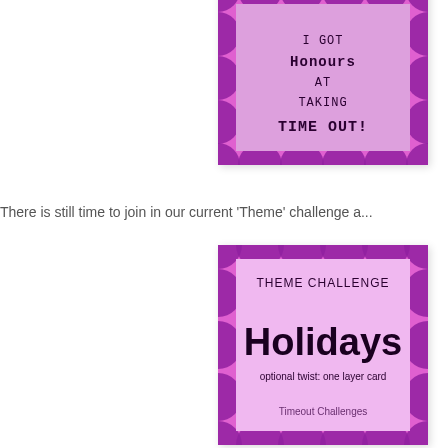[Figure (illustration): Pink and purple polka-dot badge card with text: I GOT Honours AT taking TIME OUT!]
There is still time to join in our current 'Theme' challenge a...
[Figure (illustration): Pink and purple polka-dot challenge badge with text: THEME CHALLENGE, Holidays, optional twist: one layer card, Timeout Challenges]